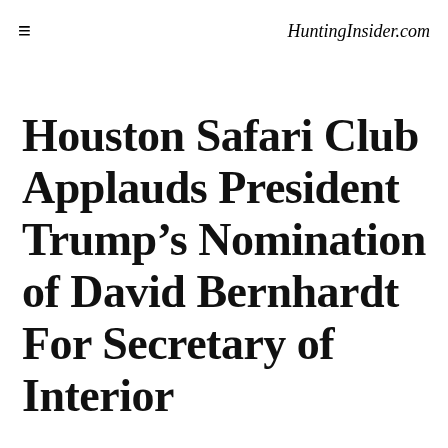≡    HuntingInsider.com
Houston Safari Club Applauds President Trump's Nomination of David Bernhardt For Secretary of Interior